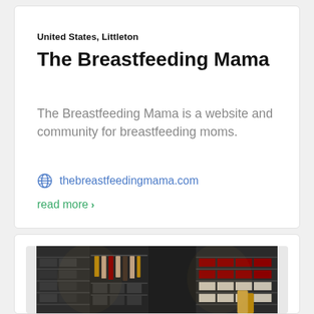United States, Littleton
The Breastfeeding Mama
The Breastfeeding Mama is a website and community for breastfeeding moms.
thebreastfeedingmama.com
read more ›
[Figure (photo): Dark luxury walk-in closet with shelving units, hanging clothes, shoe storage with red boxes, and overhead spotlights]